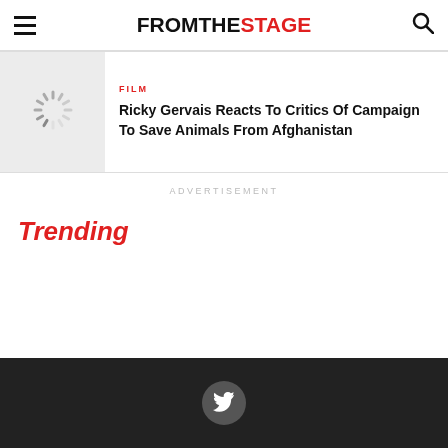FROMTHESTAGE
FILM
Ricky Gervais Reacts To Critics Of Campaign To Save Animals From Afghanistan
ADVERTISEMENT
Trending
Twitter social link